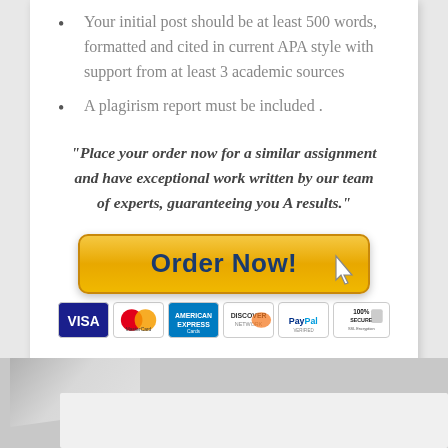Your initial post should be at least 500 words, formatted and cited in current APA style with support from at least 3 academic sources
A plagirism report must be included .
"Place your order now for a similar assignment and have exceptional work written by our team of experts, guaranteeing you A results."
[Figure (other): Order Now button with payment method icons (Visa, MasterCard, American Express, Discover, PayPal, 100% Secure SSL Encryption)]